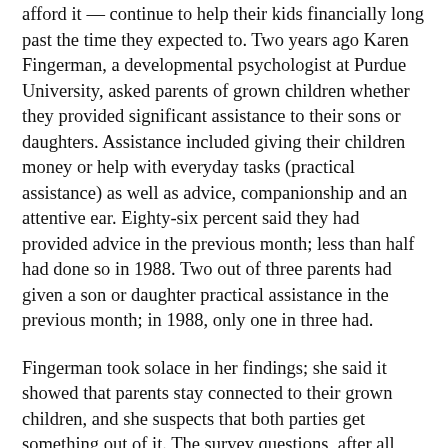afford it — continue to help their kids financially long past the time they expected to. Two years ago Karen Fingerman, a developmental psychologist at Purdue University, asked parents of grown children whether they provided significant assistance to their sons or daughters. Assistance included giving their children money or help with everyday tasks (practical assistance) as well as advice, companionship and an attentive ear. Eighty-six percent said they had provided advice in the previous month; less than half had done so in 1988. Two out of three parents had given a son or daughter practical assistance in the previous month; in 1988, only one in three had.
Fingerman took solace in her findings; she said it showed that parents stay connected to their grown children, and she suspects that both parties get something out of it. The survey questions, after all, referred not only to dispensing money but also to offering advice, comfort and friendship. And another of Fingerman's studies suggests that parents' sense of well-being depends largely on how close they are to their grown children and how their children are faring — objective support for the adage that you're only as happy as your